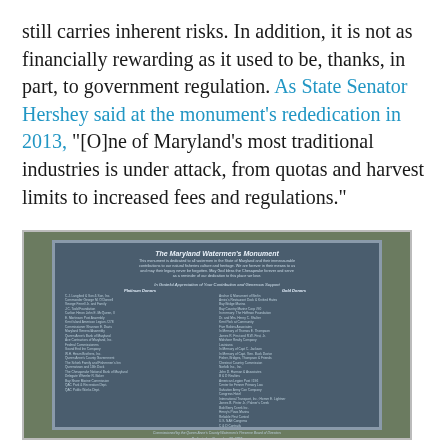still carries inherent risks. In addition, it is not as financially rewarding as it used to be, thanks, in part, to government regulation. As State Senator Hershey said at the monument's rededication in 2013, "[O]ne of Maryland's most traditional industries is under attack, from quotas and harvest limits to increased fees and regulations."
[Figure (photo): A photograph of The Maryland Watermen's Monument plaque, a dark blue-grey stone/metal monument with white text listing donors and a dedication inscription, set against a green natural background.]